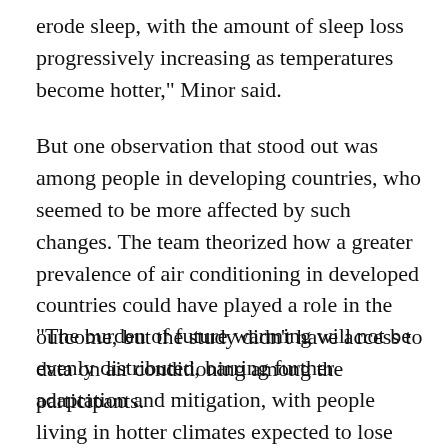erode sleep, with the amount of sleep loss progressively increasing as temperatures become hotter," Minor said.
But one observation that stood out was among people in developing countries, who seemed to be more affected by such changes. The team theorized how a greater prevalence of air conditioning in developed countries could have played a role in the outcome, but the study didn’t have access to data on air conditioning among the participants.
"The burden of future warming will not be evenly distributed, barring further adaptation and mitigation, with people living in hotter climates expected to lose considerably more hours of sleep per year by 2099, contributing to societal impacts that scale with the level